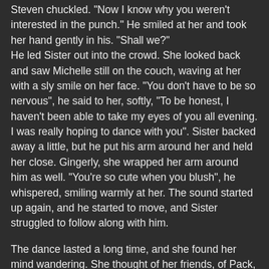Steven chuckled. "Now I know why you weren't interested in the punch." He smiled at her and took her hand gently in his. "Shall we?"
He led Sister out into the crowd. She looked back and saw Michelle still on the couch, waving at her with a sly smile on her face. "You don't have to be so nervous", he said to her, softly, "To be honest, I haven't been able to take my eyes of you all evening. I was really hoping to dance with you". Sister backed away a little, but he put his arm around her and held her close. Gingerly, she wrapped her arm around him as well. "You're so cute when you blush", he whispered, smiling warmly at her. The sound started up again, and he started to move, and Sister struggled to follow along with him.
The dance lasted a long time, and she found her mind wandering. She thought of her friends, of Pack, who was always in a hurry, of Lay, who was always teasing her, of Lapse, who she never got to know as well as she would have liked, and of Corsair, her closest friend, who was always so bold and full of life. Corsair would love to hear about this, she knew, he was always searching for new things, and this was something that